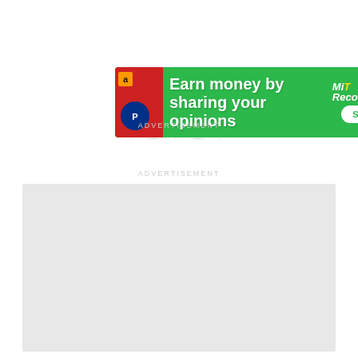[Figure (screenshot): Green advertisement banner: 'Earn money by sharing your opinions' with MiRecompensas logo and SIGN UP button, Amazon and Puma branding on left, KARGO AD tab at bottom right.]
ADVERTISEMENT
ADVERTISEMENT
[Figure (other): Large light gray advertisement placeholder block.]